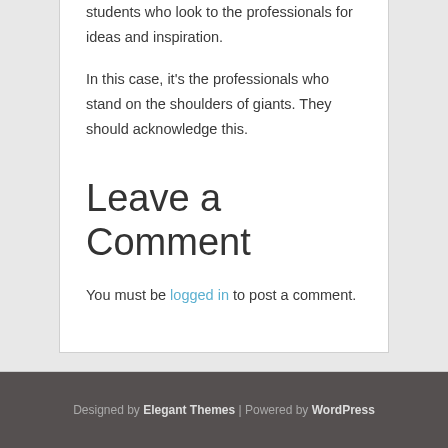students who look to the professionals for ideas and inspiration.
In this case, it's the professionals who stand on the shoulders of giants. They should acknowledge this.
Leave a Comment
You must be logged in to post a comment.
Designed by Elegant Themes | Powered by WordPress